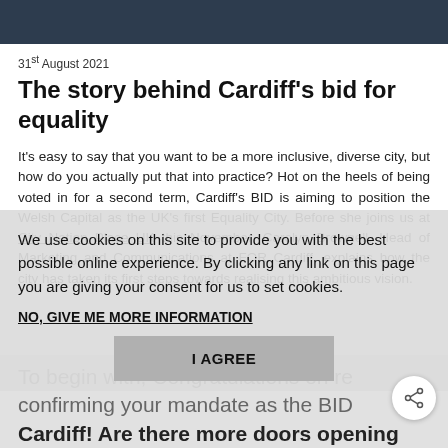31st August 2021
The story behind Cardiff's bid for equality
It's easy to say that you want to be a more inclusive, diverse city, but how do you actually put that into practice? Hot on the heels of being voted in for a second term, Cardiff's BID is aiming to position the Welsh Capital as the UK's first Equality City. Before she joins us at City Nation Place UK this November, Carolyn Brownell, Head of Marketing and Communications at FOR Cardiff, explains how the city has taken its first steps towards realising this ambitious vision.
We use cookies on this site to provide you with the best possible online experience. By clicking any link on this page you are giving your consent for us to set cookies.
NO, GIVE ME MORE INFORMATION
I AGREE
To begin with, Congratulations on re confirming your mandate as the BID Cardiff! Are there more doors opening